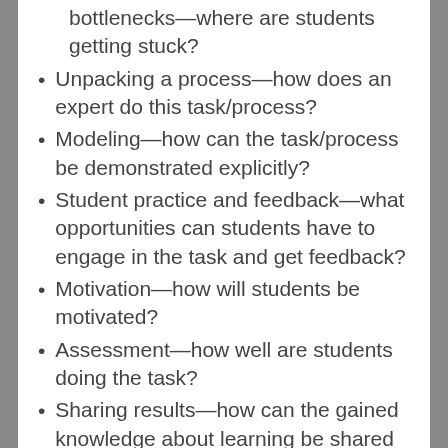bottlenecks—where are students getting stuck?
Unpacking a process—how does an expert do this task/process?
Modeling—how can the task/process be demonstrated explicitly?
Student practice and feedback—what opportunities can students have to engage in the task and get feedback?
Motivation—how will students be motivated?
Assessment—how well are students doing the task?
Sharing results—how can the gained knowledge about learning be shared with other educators?
The last point made me think about Lanclos' keynote with regard to professional vulnerability.